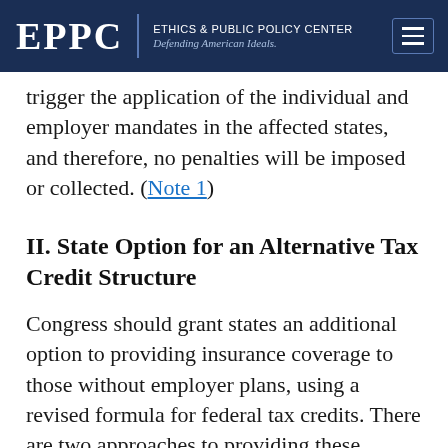EPPC | ETHICS & PUBLIC POLICY CENTER Defending American Ideals.
trigger the application of the individual and employer mandates in the affected states, and therefore, no penalties will be imposed or collected. (Note 1)
II. State Option for an Alternative Tax Credit Structure
Congress should grant states an additional option to providing insurance coverage to those without employer plans, using a revised formula for federal tax credits. There are two approaches to providing these credits that merit consideration.